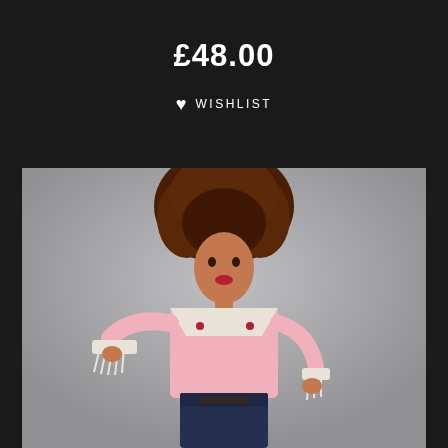£48.00
WISHLIST
[Figure (photo): A model wearing a pink western-style shirt with white fringe details and satin yoke, paired with dark high-waisted jeans, and a large voluminous dark auburn bouffant wig, posing against a grey background.]